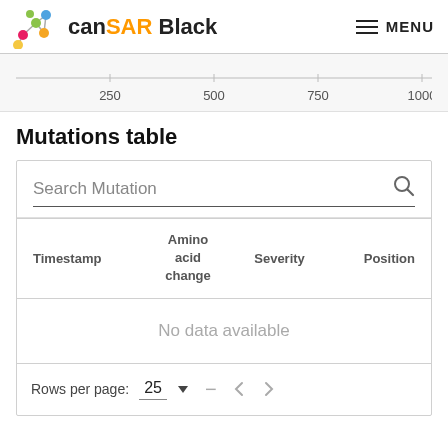canSAR Black  MENU
[Figure (other): Horizontal ruler with tick marks at 250, 500, 750, 1000]
Mutations table
| Timestamp | Amino acid change | Severity | Position |
| --- | --- | --- | --- |
| No data available |  |  |  |